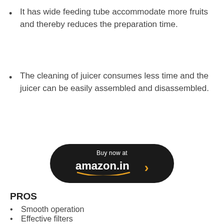It has wide feeding tube accommodate more fruits and thereby reduces the preparation time.
The cleaning of juicer consumes less time and the juicer can be easily assembled and disassembled.
[Figure (other): Amazon.in buy now button — dark rounded rectangle with 'Buy now at amazon.in >' text and Amazon smile logo]
PROS
Smooth operation
Effective filters
Wide feed area